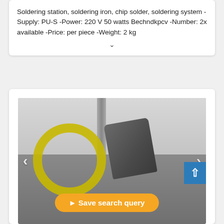Soldering station, soldering iron, chip solder, soldering system -Supply: PU-S -Power: 220 V 50 watts Bechndkpcv -Number: 2x available -Price: per piece -Weight: 2 kg
[Figure (photo): Photo of a power tool (appears to be an impact wrench or similar pneumatic tool) with a yellow coiled cord/hose on a metal work surface, with a concrete wall in the background. Navigation arrows on left and right sides.]